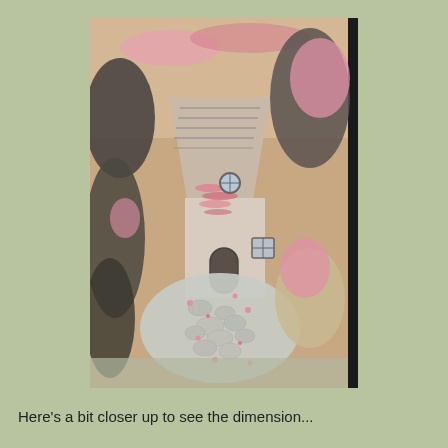[Figure (photo): A close-up photograph of a decorative craft or card artwork depicting a charming cottage or storybook house with a steeply pitched thatched roof, stone walls, a rounded door, small windows, and surrounding trees and flowers. The image features pink glittery embellishments on the foliage, roof details, and scattered flowers along a stone path leading to the cottage. The overall palette is muted warm tones with pink sparkle accents.]
Here's a bit closer up to see the dimension...